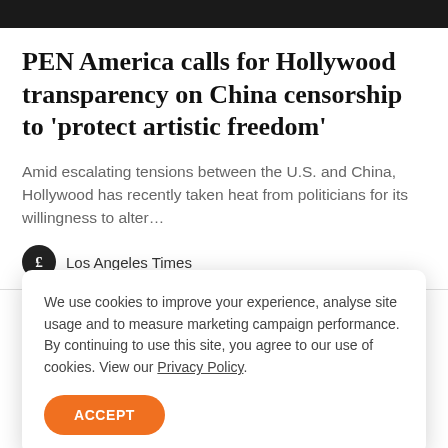PEN America calls for Hollywood transparency on China censorship to 'protect artistic freedom'
Amid escalating tensions between the U.S. and China, Hollywood has recently taken heat from politicians for its willingness to alter…
Los Angeles Times
We use cookies to improve your experience, analyse site usage and to measure marketing campaign performance. By continuing to use this site, you agree to our use of cookies. View our Privacy Policy.
ACCEPT
Your email address